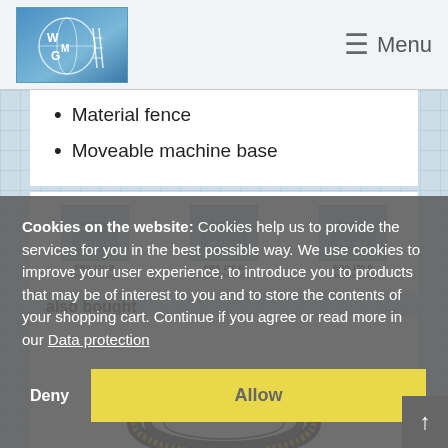[Figure (logo): WMG logo with globe and scaffolding imagery on blue background]
Menu
Material fence
Moveable machine base
[Figure (photo): Bernardo EBS 150 B Metallbandsäge product thumbnail]
[Figure (photo): Bernardo EBS 150 B Metallbandsäge product thumbnail]
[Figure (photo): Bernardo EBS 150 B Metallbandsäge product thumbnail]
also bought
[Figure (photo): Circular saw blade / band saw blade image at bottom of page]
Cookies on the website: Cookies help us to provide the services for you in the best possible way. We use cookies to improve your user experience, to introduce you to products that may be of interest to you and to store the contents of your shopping cart. Continue if you agree or read more in our Data protection